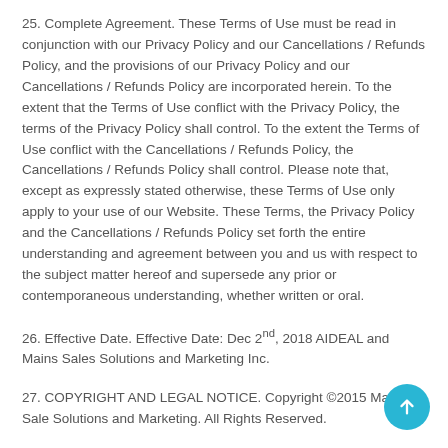25. Complete Agreement. These Terms of Use must be read in conjunction with our Privacy Policy and our Cancellations / Refunds Policy, and the provisions of our Privacy Policy and our Cancellations / Refunds Policy are incorporated herein. To the extent that the Terms of Use conflict with the Privacy Policy, the terms of the Privacy Policy shall control. To the extent the Terms of Use conflict with the Cancellations / Refunds Policy, the Cancellations / Refunds Policy shall control. Please note that, except as expressly stated otherwise, these Terms of Use only apply to your use of our Website. These Terms, the Privacy Policy and the Cancellations / Refunds Policy set forth the entire understanding and agreement between you and us with respect to the subject matter hereof and supersede any prior or contemporaneous understanding, whether written or oral.
26. Effective Date. Effective Date: Dec 2nd, 2018 AIDEAL and Mains Sales Solutions and Marketing Inc.
27. COPYRIGHT AND LEGAL NOTICE. Copyright ©2015 Main Sales Solutions and Marketing. All Rights Reserved.